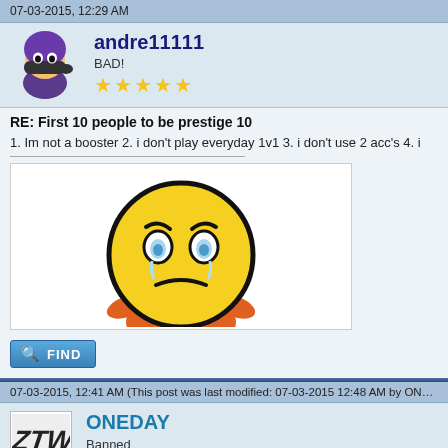07-03-2015, 12:29 AM
andre11111
BAD!
★★★★★
[Figure (illustration): Purple ninja character avatar]
RE: First 10 people to be prestige 10
1. Im not a booster 2. i don't play everyday 1v1 3. i don't use 2 acc's 4. i
[Figure (illustration): Sad yellow smiley face emoji with tears, hands on face, orange arms]
FIND
07-03-2015, 12:41 AM (This post was last modified: 07-03-2015 12:48 AM by ONEDAY.
ONEDAY
Banned
[Figure (illustration): Graffiti-style avatar for ONEDAY]
RE: First 10 people to be prestige 10
rosebudn64(rosebudn64again) Wrote: ➡